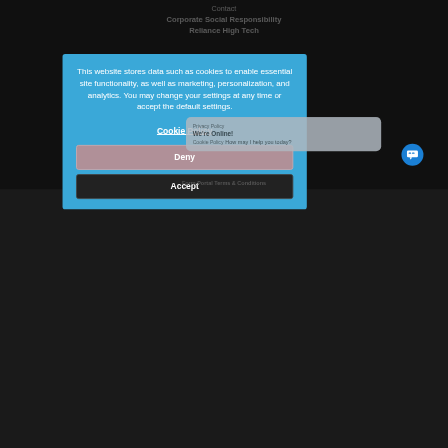Contact
Corporate Social Responsibility
Reliance High Tech
[Figure (screenshot): Cookie consent modal dialog on a website. The modal has a blue background and contains a message about data storage and cookies, a Cookie Policy link, a Deny button, and an Accept button. Behind the modal is a dark website background showing navigation items and a chat bubble widget.]
Privacy Policy
We're Online!
Cookie Policy
How may I help you today?
Form Portal Terms & Conditions